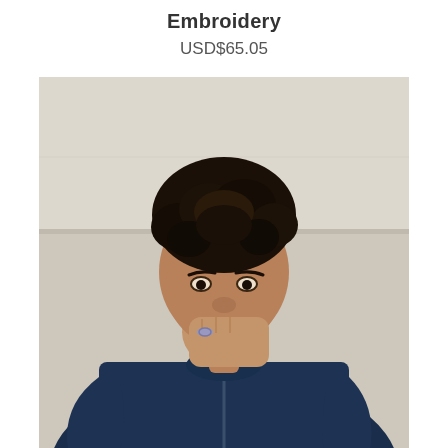Embroidery
USD$65.05
[Figure (photo): A young man with curly dark hair wearing a navy blue zip-up jacket, holding his hand up near his face with a ring visible, standing against a light beige/grey stone wall background.]